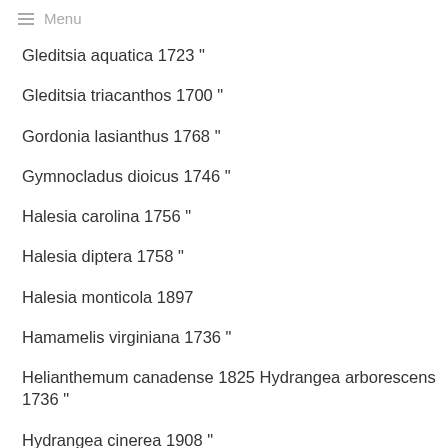Menu
Gleditsia aquatica 1723 "
Gleditsia triacanthos 1700 "
Gordonia lasianthus 1768 "
Gymnocladus dioicus 1746 "
Halesia carolina 1756 "
Halesia diptera 1758 "
Halesia monticola 1897
Hamamelis virginiana 1736 "
Helianthemum canadense 1825 Hydrangea arborescens 1736 "
Hydrangea cinerea 1908 "